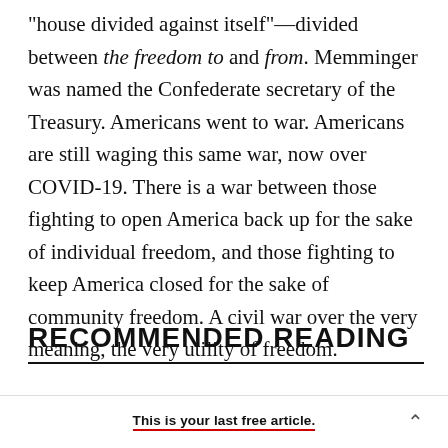“house divided against itself”—divided between the freedom to and from. Memminger was named the Confederate secretary of the Treasury. Americans went to war. Americans are still waging this same war, now over COVID-19. There is a war between those fighting to open America back up for the sake of individual freedom, and those fighting to keep America closed for the sake of community freedom. A civil war over the very meaning, the very utility of freedom.
RECOMMENDED READING
This is your last free article.